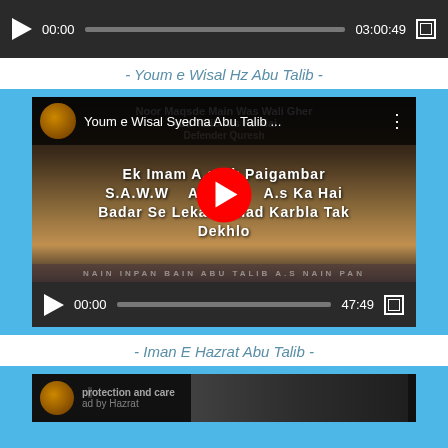[Figure (screenshot): Audio player with dark background showing 00:00 / 03:00:49 and play button and progress bar]
- Youm e Wisal Hz Abu Talib -
[Figure (screenshot): YouTube video embed showing 'Youm e Wisal Syedna Abu Talib...' with text 'Ek Imam A.s Ek Paigambar S.A.W.W Abu... A.s Ka Hai Badar Se Lekar Jahad Karbla Tak Dekhlo' and video controls showing 00:00 / 47:49]
- Iman E Hazrat Abu Talib -
[Figure (screenshot): Partial YouTube video showing 'protection and care' and 'ad by Hazrat' text with channel icon]